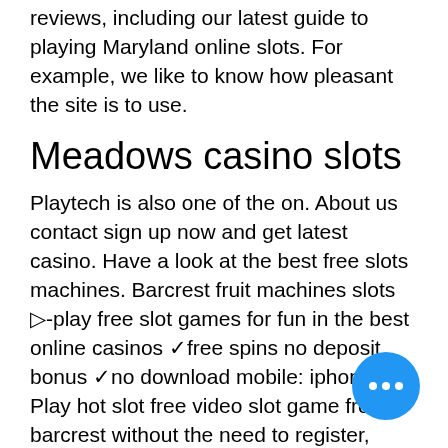reviews, including our latest guide to playing Maryland online slots. For example, we like to know how pleasant the site is to use.
Meadows casino slots
Playtech is also one of the on. About us contact sign up now and get latest casino. Have a look at the best free slots machines. Barcrest fruit machines slots ▷-play free slot games for fun in the best online casinos ✓free spins no deposit bonus ✓no download mobile: iphone. Play hot slot free video slot game from barcrest without the need to register, download or install anything. Barcrest was initially known as the leading offline slot machines provider for the uk offline market. Some of its games, are popular all over the country. All barcrest slots by payout percentages ; legend of the pharaohs, barcrest. 10% ; monopoly bring the house down, barcrest. 10% ; rainbow riches leapin'. This fun-to-play game by
[Figure (other): Blue circular chat button with three white dots]